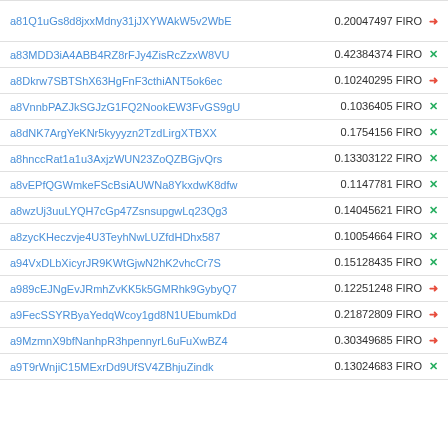| Address | Amount |
| --- | --- |
| a81Q1uGs8d8jxxMdny31jJXYWAkW5v2WbE | 0.20047497 FIRO → |
| a83MDD3iA4ABB4RZ8rFJy4ZisRcZzxW8VU | 0.42384374 FIRO × |
| a8Dkrw7SBTShX63HgFnF3cthiANT5ok6ec | 0.10240295 FIRO → |
| a8VnnbPAZJkSGJzG1FQ2NookEW3FvGS9gU | 0.1036405 FIRO × |
| a8dNK7ArgYeKNr5kyyyzn2TzdLirgXTBXX | 0.1754156 FIRO × |
| a8hnccRat1a1u3AxjzWUN23ZoQZBGjvQrs | 0.13303122 FIRO × |
| a8vEPfQGWmkeFScBsiAUWNa8YkxdwK8dfw | 0.1147781 FIRO × |
| a8wzUj3uuLYQH7cGp47ZsnsupgwLq23Qg3 | 0.14045621 FIRO × |
| a8zycKHeczvje4U3TeyhNwLUZfdHDhx587 | 0.10054664 FIRO × |
| a94VxDLbXicyrJR9KWtGjwN2hK2vhcCr7S | 0.15128435 FIRO × |
| a989cEJNgEvJRmhZvKK5k5GMRhk9GybyQ7 | 0.12251248 FIRO → |
| a9FecSSYRByaYedqWcoy1gd8N1UEbumkDd | 0.21872809 FIRO → |
| a9MzmnX9bfNanhpR3hpennyrL6uFuXwBZ4 | 0.30349685 FIRO → |
| a9T9rWnjiC15MExrDd9UfSV4ZBhjuZindk | 0.13024683 FIRO × |